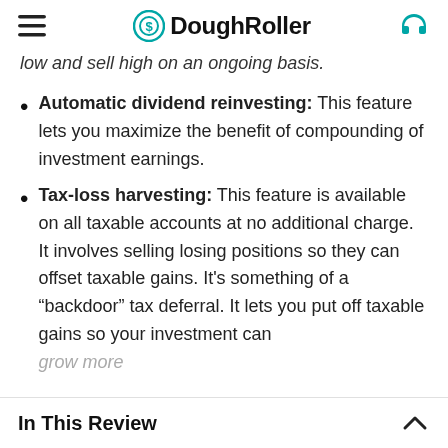DoughRoller
low and sell high on an ongoing basis.
Automatic dividend reinvesting: This feature lets you maximize the benefit of compounding of investment earnings.
Tax-loss harvesting: This feature is available on all taxable accounts at no additional charge. It involves selling losing positions so they can offset taxable gains. It’s something of a “backdoor” tax deferral. It lets you put off taxable gains so your investment can grow more.
In This Review